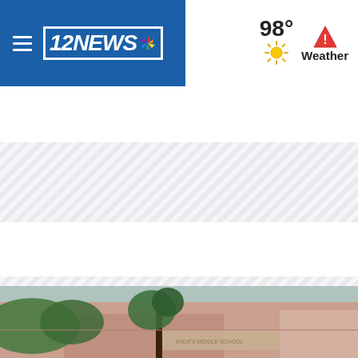12NEWS — 98° Weather
BREAKING NEWS
School bus crash on I-40, 1 child dead, 4 injured Read More »
[Figure (photo): Exterior photo of a building with trees in foreground, bottom portion of a news website page]
[Figure (other): Diagonal striped ad/content placeholder areas in light gray]
[Figure (other): White content area placeholder]